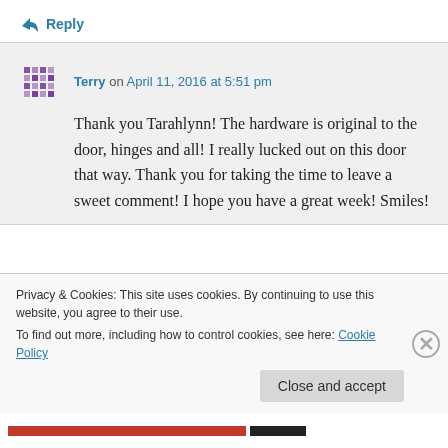↪ Reply
Terry on April 11, 2016 at 5:51 pm
Thank you Tarahlynn! The hardware is original to the door, hinges and all! I really lucked out on this door that way. Thank you for taking the time to leave a sweet comment! I hope you have a great week! Smiles!
Privacy & Cookies: This site uses cookies. By continuing to use this website, you agree to their use.
To find out more, including how to control cookies, see here: Cookie Policy
Close and accept